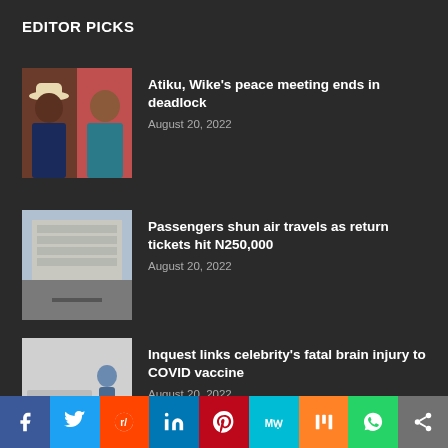EDITOR PICKS
[Figure (photo): Two people, one wearing a white hat]
Atiku, Wike's peace meeting ends in deadlock
August 20, 2022
[Figure (photo): Airport terminal building exterior]
Passengers shun air travels as return tickets hit N250,000
August 20, 2022
[Figure (photo): Person standing near hospital bed in corridor]
Inquest links celebrity's fatal brain injury to COVID vaccine
August 20, 2022